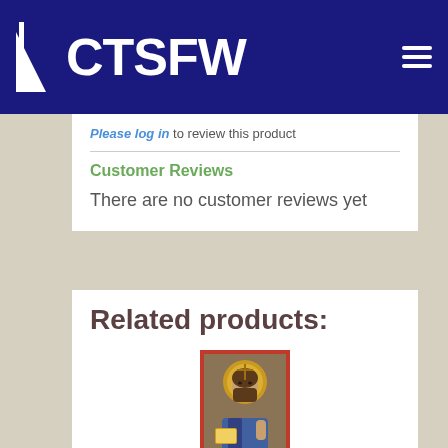ACTSFW
Please log in to review this product
Customer Reviews
There are no customer reviews yet
Related products:
[Figure (illustration): Religious icon image showing Christ/Jesus with halo, Byzantine style icon with red border]